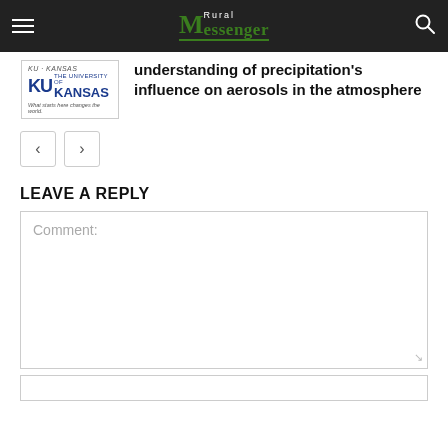Rural Messenger — navigation bar
[Figure (logo): University of Kansas (KU) logo — blue KU letters with 'THE UNIVERSITY OF KANSAS' text]
understanding of precipitation's influence on aerosols in the atmosphere
← →
LEAVE A REPLY
Comment: